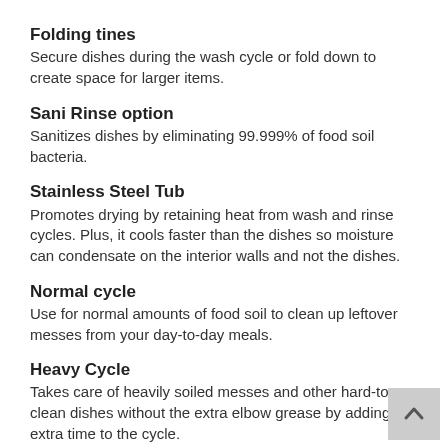Folding tines
Secure dishes during the wash cycle or fold down to create space for larger items.
Sani Rinse option
Sanitizes dishes by eliminating 99.999% of food soil bacteria.
Stainless Steel Tub
Promotes drying by retaining heat from wash and rinse cycles. Plus, it cools faster than the dishes so moisture can condensate on the interior walls and not the dishes.
Normal cycle
Use for normal amounts of food soil to clean up leftover messes from your day-to-day meals.
Heavy Cycle
Takes care of heavily soiled messes and other hard-to-clean dishes without the extra elbow grease by adding extra time to the cycle.
Soak & Clean cycle
Presoak and wash in one cycle so stuck-on food